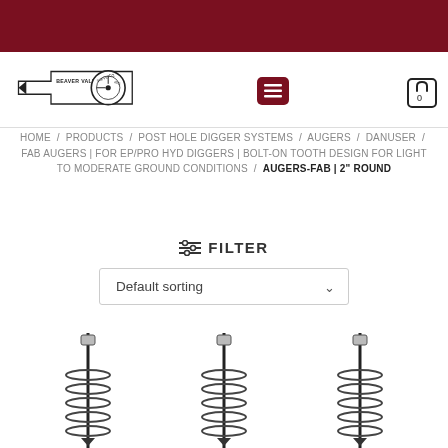Beaver Valley Supply Co. Inc. — Navigation header with logo, menu button, and cart
HOME / PRODUCTS / POST HOLE DIGGER SYSTEMS / AUGERS / DANUSER / FAB AUGERS | FOR EP/PRO HYD DIGGERS | BOLT-ON TOOTH DESIGN FOR LIGHT TO MODERATE GROUND CONDITIONS / AUGERS-FAB | 2" ROUND
FILTER
Default sorting
[Figure (photo): Three auger drill bits with helical flighting shown partially, product images cropped at bottom of page]